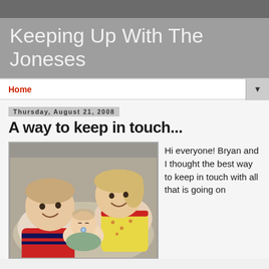Keeping Up With The Joneses
Home
Thursday, August 21, 2008
A way to keep in touch...
[Figure (photo): Three children lying together: two older children smiling at the camera on either side of a sleeping newborn baby with a pacifier, resting on a floral pillow/blanket on a couch.]
Hi everyone! Bryan and I thought the best way to keep in touch with all that is going on